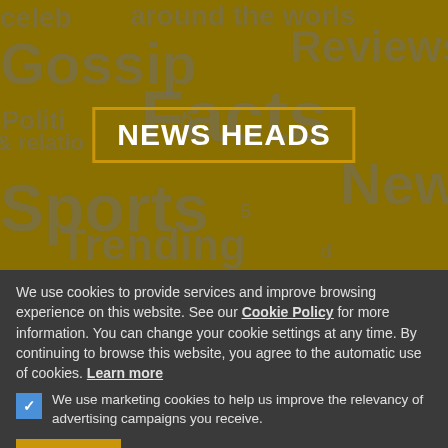[Figure (illustration): Word cloud banner with golden/olive background showing news-related words (Gossip, Facts, Sports, News, Trending, Reviews, Politics, Celeb, around the world, relationships) in large grey text. Centered overlay box with gold border containing the text 'NEWS HEADS' in white bold capitals.]
We use cookies to provide services and improve browsing experience on this website. See our Cookie Policy for more information. You can change your cookie settings at any time. By continuing to browse this website, you agree to the automatic use of cookies. Learn more
We use marketing cookies to help us improve the relevancy of advertising campaigns you receive.
Accept